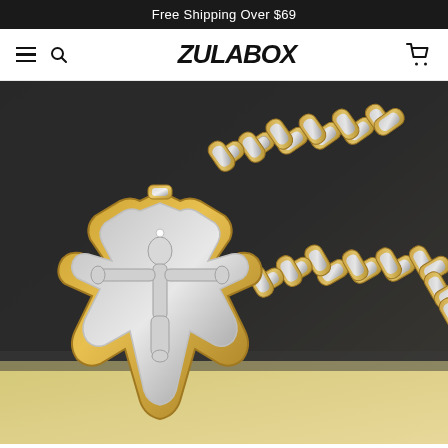Free Shipping Over $69
[Figure (logo): ZULABOX brand logo with hamburger menu icon, search icon on left and shopping cart icon on right in white navigation bar]
[Figure (photo): Close-up product photo of a gold and silver stainless steel crucifix cross pendant on a byzantine chain necklace, displayed on a dark gray surface]